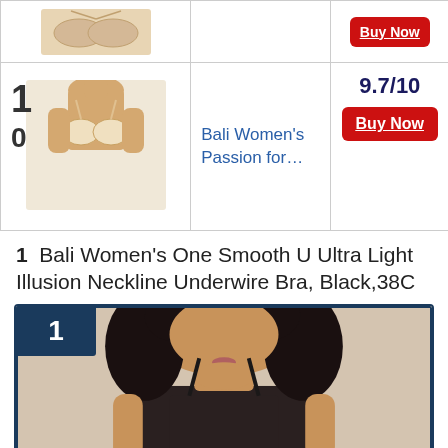| Image | Product | Score/Action |
| --- | --- | --- |
| [product image] |  | Buy Now |
| 10 [bra image] | Bali Women's Passion for... | 9.7/10
Buy Now |
1 Bali Women's One Smooth U Ultra Light Illusion Neckline Underwire Bra, Black,38C
[Figure (photo): Featured product card with rank badge '1' in dark navy and photo of a woman wearing a black bra, shown from neck down with curly hair]